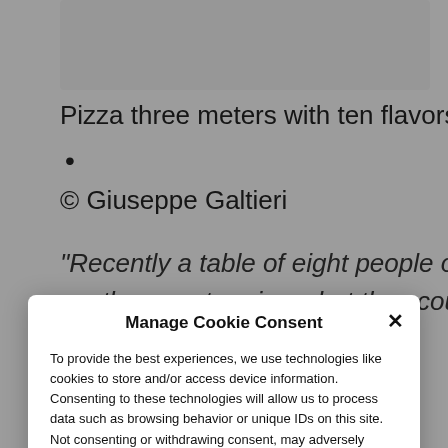[Figure (screenshot): Background webpage showing pizza content partially visible behind cookie consent modal]
Pizza three meters with ten flavors
•
© Giuseppe Galtieri
“Recently a table of eight people ordered me my three meter pizza but they couldn’t finish
Manage Cookie Consent
To provide the best experiences, we use technologies like cookies to store and/or access device information. Consenting to these technologies will allow us to process data such as browsing behavior or unique IDs on this site. Not consenting or withdrawing consent, may adversely affect certain features and functions.
Accept
Cookie Policy